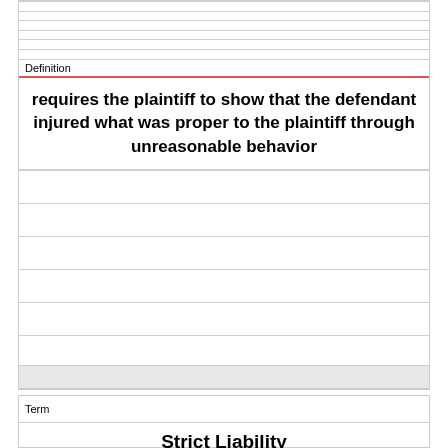Definition
requires the plaintiff to show that the defendant injured what was proper to the plaintiff through unreasonable behavior
Term
Strict Liability